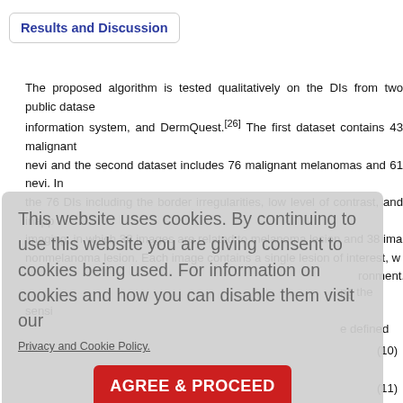Results and Discussion
The proposed algorithm is tested qualitatively on the DIs from two public datasets: a web-based image information system, and DermQuest.[26] The first dataset contains 43 malignant melanomas and 42 nevi and the second dataset includes 76 malignant melanomas and 61 nevi. In our work, we focus on the 76 DIs including the border irregularities, low level of contrast, and inappropriate illumination imaging, in which 38 images are related to melanoma lesion and 38 images are related to nonmelanoma lesion. Each image contains a single lesion of interest, within a clinical environment.
This website uses cookies. By continuing to use this website you are giving consent to cookies being used. For information on cookies and how you can disable them visit our Privacy and Cookie Policy.
AGREE & PROCEED
ng the sensitivity and specificity are defined as
(10)
(11)